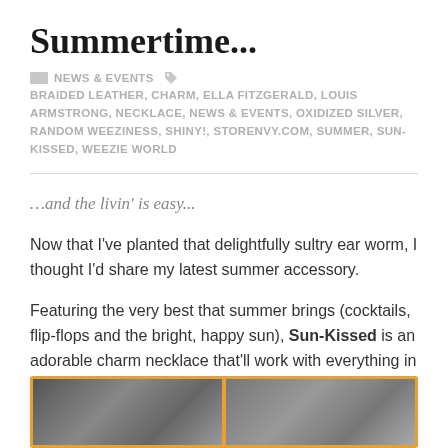Summertime...
NEWS & EVENTS   BRAIDED LEATHER, CHARM, ELLA FITZGERALD, LOUIS ARMSTRONG, NECKLACE, NEWS & EVENTS, OXIDIZED SILVER, RANDOM WEEZINESS, SHINY!, STORENVY.COM, SUMMER, SUN-KISSED, WEEZIE WORLD
…and the livin' is easy...
Now that I've planted that delightfully sultry ear worm, I thought I'd share my latest summer accessory.
Featuring the very best that summer brings (cocktails, flip-flops and the bright, happy sun), Sun-Kissed is an adorable charm necklace that'll work with everything in your summer wardrobe.
[Figure (photo): Two side-by-side photos in an orange-bordered frame showing jewelry/necklace details on a rocky or textured background]